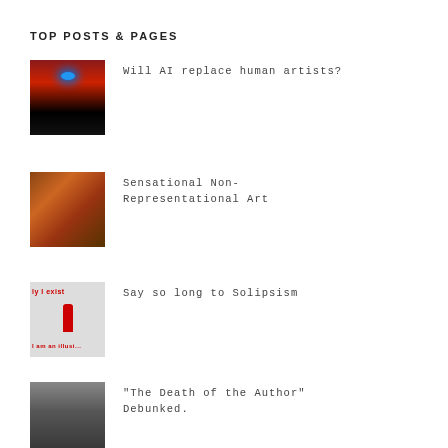TOP POSTS & PAGES
Will AI replace human artists?
Sensational Non-Representational Art
Say so long to Solipsism
"The Death of the Author" Debunked.